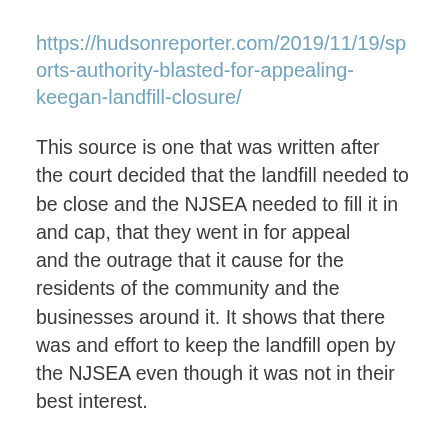https://hudsonreporter.com/2019/11/19/sports-authority-blasted-for-appealing-keegan-landfill-closure/
This source is one that was written after the court decided that the landfill needed to be close and the NJSEA needed to fill it in and cap, that they went in for appeal and the outrage that it cause for the residents of the community and the businesses around it. It shows that there was and effort to keep the landfill open by the NJSEA even though it was not in their best interest.